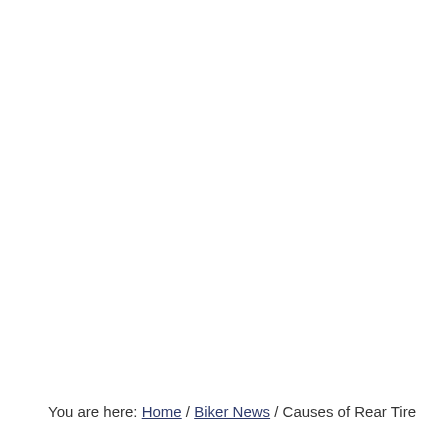You are here: Home / Biker News / Causes of Rear Tire